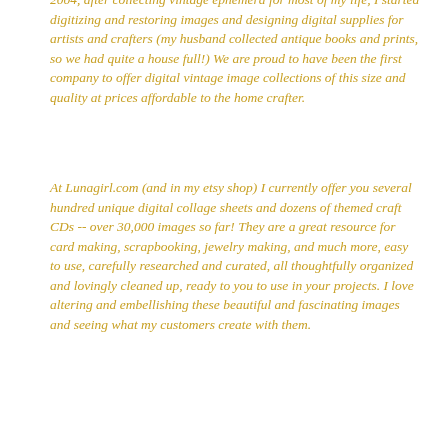2004, after collecting vintage ephemera for most of my life, I started digitizing and restoring images and designing digital supplies for artists and crafters (my husband collected antique books and prints, so we had quite a house full!) We are proud to have been the first company to offer digital vintage image collections of this size and quality at prices affordable to the home crafter.
At Lunagirl.com (and in my etsy shop) I currently offer you several hundred unique digital collage sheets and dozens of themed craft CDs -- over 30,000 images so far! They are a great resource for card making, scrapbooking, jewelry making, and much more, easy to use, carefully researched and curated, all thoughtfully organized and lovingly cleaned up, ready to you to use in your projects. I love altering and embellishing these beautiful and fascinating images and seeing what my customers create with them.